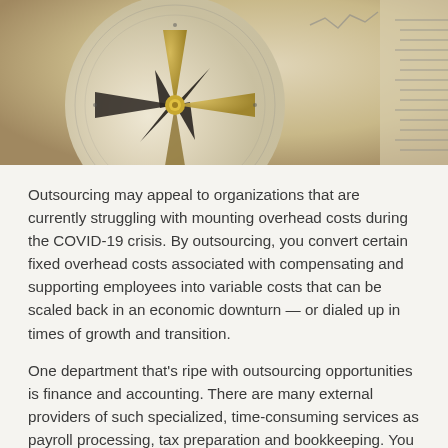[Figure (photo): Close-up photograph of a compass with gold and dark metallic needle against a cream/beige compass face, with measurement markings visible on the right side.]
Outsourcing may appeal to organizations that are currently struggling with mounting overhead costs during the COVID-19 crisis. By outsourcing, you convert certain fixed overhead costs associated with compensating and supporting employees into variable costs that can be scaled back in an economic downturn — or dialed up in times of growth and transition.
One department that's ripe with outsourcing opportunities is finance and accounting. There are many external providers of such specialized, time-consuming services as payroll processing, tax preparation and bookkeeping. You can even outsource your controller or CFO function. But do the benefits of outsourcing these tasks outweigh the potential downsides?
Recognize the upsides